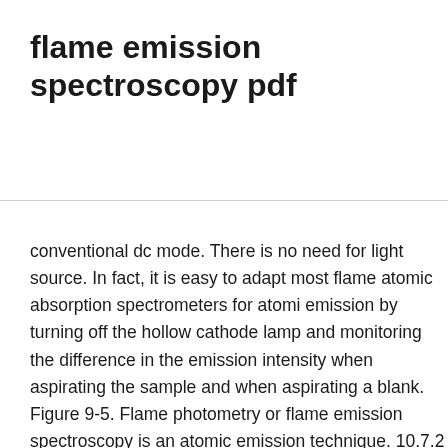flame emission spectroscopy pdf
conventional dc mode. There is no need for light source. In fact, it is easy to adapt most flame atomic absorption spectrometers for atomic emission by turning off the hollow cathode lamp and monitoring the difference in the emission intensity when aspirating the sample and when aspirating a blank. Figure 9-5. Flame photometry or flame emission spectroscopy is an atomic emission technique. 10.7.2 Equipment. The emission spectrum of an element consists of a collection of emission wavelengths called emission lines because of the discrete Atomic Emission. Here we describe the application of a combination of picosecond absorption and emission measurements